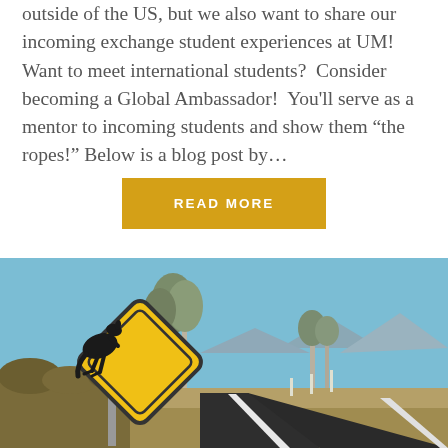outside of the US, but we also want to share our incoming exchange student experiences at UM!  Want to meet international students?  Consider becoming a Global Ambassador!  You'll serve as a mentor to incoming students and show them “the ropes!” Below is a blog post by…
READ MORE
[Figure (photo): Photograph of an Australian road with a yellow diamond-shaped kangaroo warning road sign in the foreground on the left, trees in the middle background, a straight road stretching to the right, and a clear blue sky.]